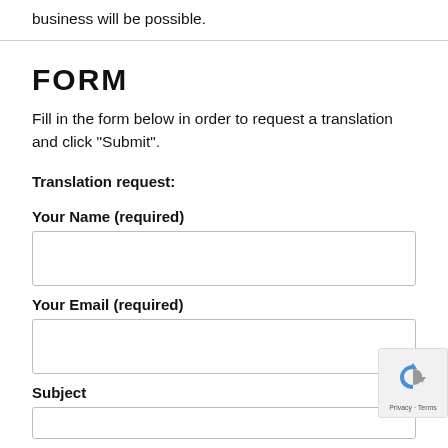business will be possible.
FORM
Fill in the form below in order to request a translation and click “Submit”.
Translation request:
Your Name (required)
Your Email (required)
Subject